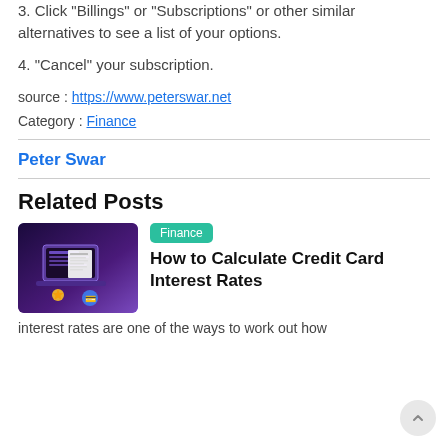3. Click “Billings” or “Subscriptions” or other similar alternatives to see a list of your options.
4. “Cancel” your subscription.
source : https://www.peterswar.net
Category : Finance
Peter Swar
Related Posts
[Figure (illustration): Thumbnail image showing a laptop with a document on screen, a gold star, and a blue credit card icon on a purple gradient background]
Finance
How to Calculate Credit Card Interest Rates
interest rates are one of the ways to work out how